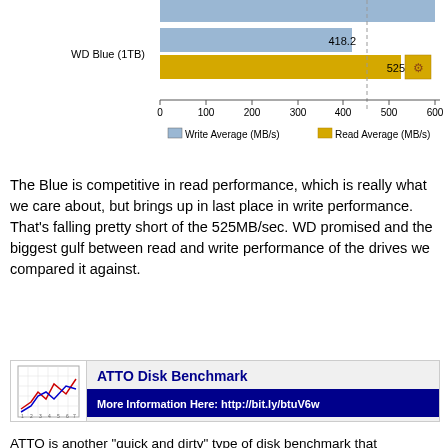[Figure (bar-chart): WD Blue (1TB) Read/Write Average]
The Blue is competitive in read performance, which is really what we care about, but brings up in last place in write performance. That's falling pretty short of the 525MB/sec. WD promised and the biggest gulf between read and write performance of the drives we compared it against.
[Figure (infographic): ATTO Disk Benchmark promotional banner with icon showing a line chart, title 'ATTO Disk Benchmark', and link bar reading 'More Information Here: http://bit.ly/btuV6w']
ATTO is another "quick and dirty" type of disk benchmark that measures transfer speeds across a specific volume length. It measures raw transfer rates for both reads and writes and graphs them out in an easily interpreted chart. We chose .5KB through 64MB transfer sizes and a queue depth of 6 over a total max volume length of 256MB.